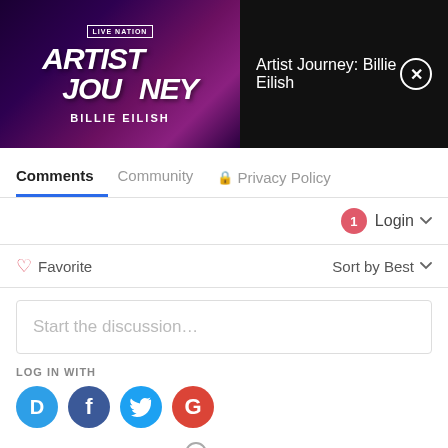[Figure (screenshot): Artist Journey: Billie Eilish overlay banner with Live Nation logo image on left and title text with close button on right]
Add Comment
Comments  Community  🔒 Privacy Policy
Login ▼
♡ Favorite   Sort by Best ▼
Start the discussion…
LOG IN WITH
[Figure (infographic): Four social login icon circles: Disqus (blue D), Facebook (dark blue f), Twitter (light blue bird), Google (red G)]
OR SIGN UP WITH DISQUS ?
Name